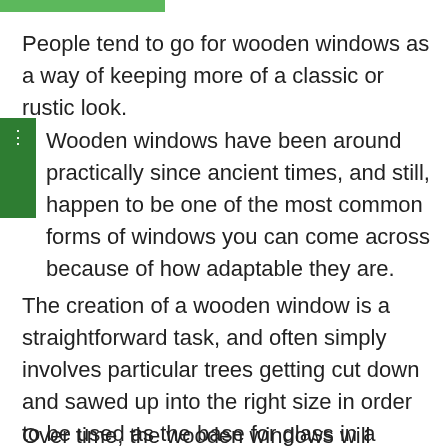People tend to go for wooden windows as a way of keeping more of a classic or rustic look.
Wooden windows have been around practically since ancient times, and still, happen to be one of the most common forms of windows you can come across because of how adaptable they are.
The creation of a wooden window is a straightforward task, and often simply involves particular trees getting cut down and sawed up into the right size in order to be used as the base for glass in a window.
Over time, the wooden windows will almost certainly